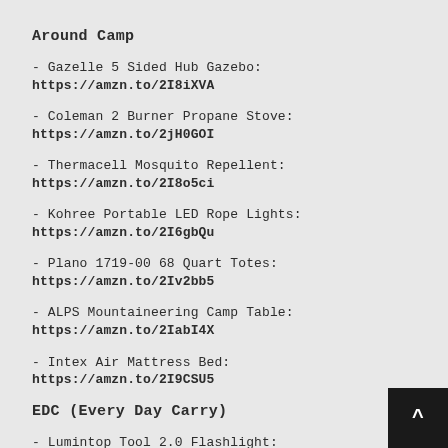Around Camp
- Gazelle 5 Sided Hub Gazebo: https://amzn.to/2I8iXVA
- Coleman 2 Burner Propane Stove: https://amzn.to/2jH0GOI
- Thermacell Mosquito Repellent: https://amzn.to/2I8o5ci
- Kohree Portable LED Rope Lights: https://amzn.to/2I6gbQu
- Plano 1719-00 68 Quart Totes: https://amzn.to/2Iv2bb5
- ALPS Mountaineering Camp Table: https://amzn.to/2IabI4X
- Intex Air Mattress Bed: https://amzn.to/2I9CSU5
EDC (Every Day Carry)
- Lumintop Tool 2.0 Flashlight: https://amzn.to/2MjZ2h...
- Samsung Galaxy Buds: https://amzn.to/2Si0Xqm